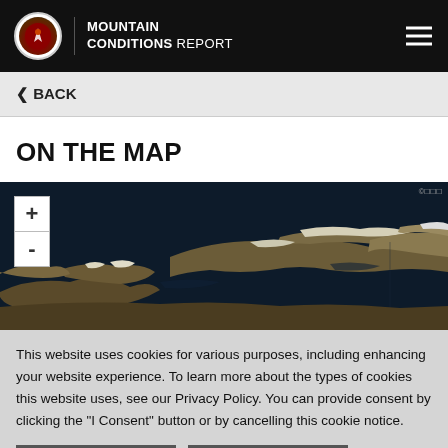MOUNTAIN CONDITIONS REPORT
◄ BACK
ON THE MAP
[Figure (map): Satellite map view of Arctic/northern Canadian archipelago terrain showing land masses with snow-capped mountains against dark ocean, with zoom + and - controls in top left corner.]
This website uses cookies for various purposes, including enhancing your website experience. To learn more about the types of cookies this website uses, see our Privacy Policy. You can provide consent by clicking the "I Consent" button or by cancelling this cookie notice.
I Consent
Manage Cookies